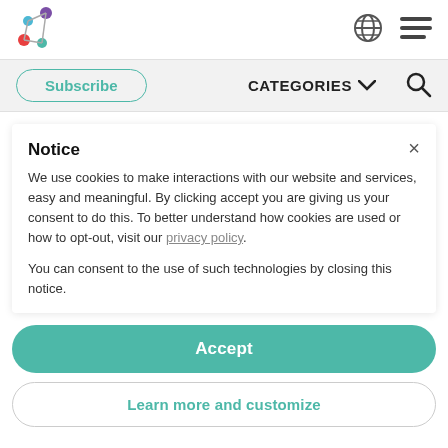[Figure (logo): Colorful dot/scatter logo mark on top left]
[Figure (illustration): Globe icon and hamburger menu icon on top right]
Subscribe
CATEGORIES ∨
[Figure (illustration): Search magnifying glass icon]
Notice
We use cookies to make interactions with our website and services, easy and meaningful. By clicking accept you are giving us your consent to do this. To better understand how cookies are used or how to opt-out, visit our privacy policy.
You can consent to the use of such technologies by closing this notice.
Accept
Learn more and customize